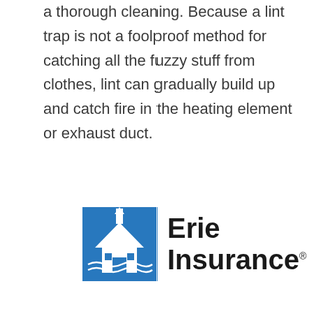a thorough cleaning. Because a lint trap is not a foolproof method for catching all the fuzzy stuff from clothes, lint can gradually build up and catch fire in the heating element or exhaust duct.
[Figure (logo): Erie Insurance logo: blue square with white house/steeple graphic, next to bold black text reading 'Erie Insurance' with registered trademark symbol]
A better insurance experience starts with ERIE.
...